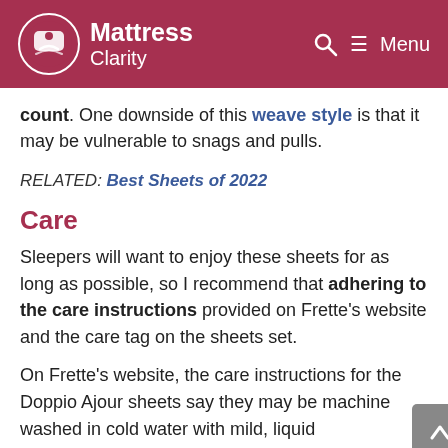Mattress Clarity
count. One downside of this weave style is that it may be vulnerable to snags and pulls.
RELATED: Best Sheets of 2022
Care
Sleepers will want to enjoy these sheets for as long as possible, so I recommend that adhering to the care instructions provided on Frette’s website and the care tag on the sheets set.
On Frette’s website, the care instructions for the Doppio Ajour sheets say they may be machine washed in cold water with mild, liquid